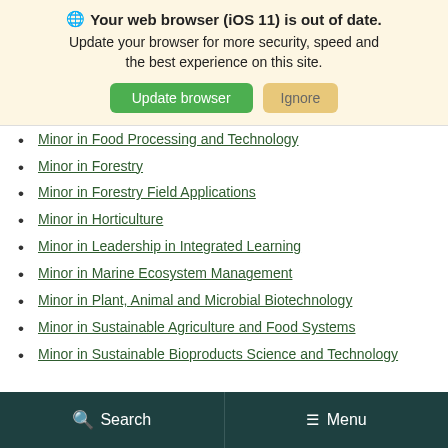Your web browser (iOS 11) is out of date. Update your browser for more security, speed and the best experience on this site.
Minor in Food Processing and Technology
Minor in Forestry
Minor in Forestry Field Applications
Minor in Horticulture
Minor in Leadership in Integrated Learning
Minor in Marine Ecosystem Management
Minor in Plant, Animal and Microbial Biotechnology
Minor in Sustainable Agriculture and Food Systems
Minor in Sustainable Bioproducts Science and Technology
Search   Menu